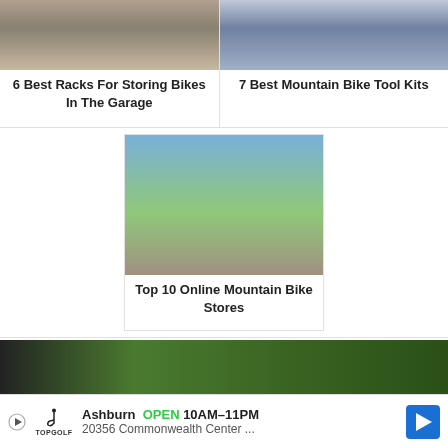[Figure (photo): Photo of bike racks in a garage]
6 Best Racks For Storing Bikes In The Garage
[Figure (photo): Photo of mountain bike tool kits laid out]
7 Best Mountain Bike Tool Kits
[Figure (photo): Mountain biker jumping off a dirt mound with blue sky and green fields behind]
Top 10 Online Mountain Bike Stores
[Figure (photo): Close-up of green mountain bike handlebars with forest in background]
Ashburn  OPEN  10AM–11PM
20356 Commonwealth Center ...